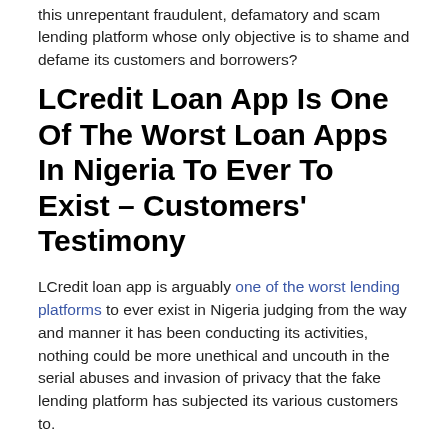this unrepentant fraudulent, defamatory and scam lending platform whose only objective is to shame and defame its customers and borrowers?
LCredit Loan App Is One Of The Worst Loan Apps In Nigeria To Ever To Exist – Customers' Testimony
LCredit loan app is arguably one of the worst lending platforms to ever exist in Nigeria judging from the way and manner it has been conducting its activities, nothing could be more unethical and uncouth in the serial abuses and invasion of privacy that the fake lending platform has subjected its various customers to.